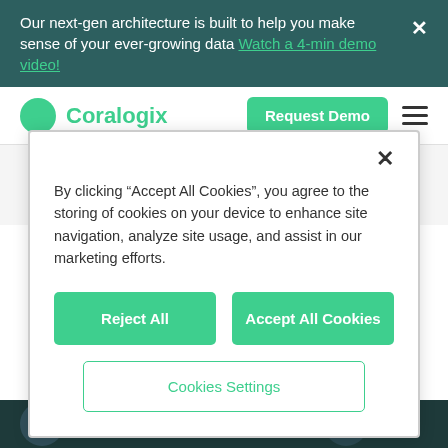Our next-gen architecture is built to help you make sense of your ever-growing data Watch a 4-min demo video!
[Figure (logo): Coralogix logo with green circle and teal text]
Request Demo
By clicking “Accept All Cookies”, you agree to the storing of cookies on your device to enhance site navigation, analyze site usage, and assist in our marketing efforts.
Reject All
Accept All Cookies
Cookies Settings